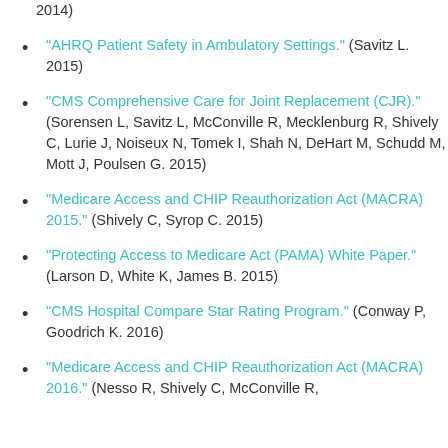2014)
"AHRQ Patient Safety in Ambulatory Settings." (Savitz L. 2015)
"CMS Comprehensive Care for Joint Replacement (CJR)." (Sorensen L, Savitz L, McConville R, Mecklenburg R, Shively C, Lurie J, Noiseux N, Tomek I, Shah N, DeHart M, Schudd M, Mott J, Poulsen G. 2015)
"Medicare Access and CHIP Reauthorization Act (MACRA) 2015." (Shively C, Syrop C. 2015)
"Protecting Access to Medicare Act (PAMA) White Paper." (Larson D, White K, James B. 2015)
"CMS Hospital Compare Star Rating Program." (Conway P, Goodrich K. 2016)
"Medicare Access and CHIP Reauthorization Act (MACRA) 2016." (Nesso R, Shively C, McConville R,